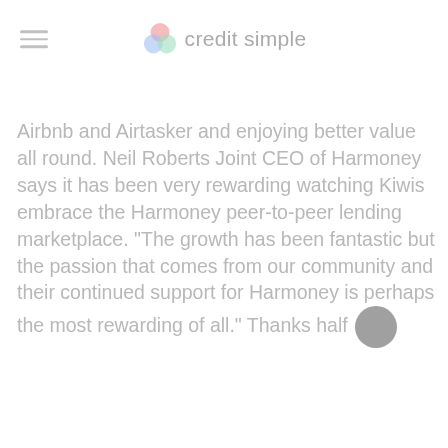credit simple
Airbnb and Airtasker and enjoying better value all round. Neil Roberts Joint CEO of Harmoney says it has been very rewarding watching Kiwis embrace the Harmoney peer-to-peer lending marketplace. "The growth has been fantastic but the passion that comes from our community and their continued support for Harmoney is perhaps the most rewarding of all." Thanks half
read more